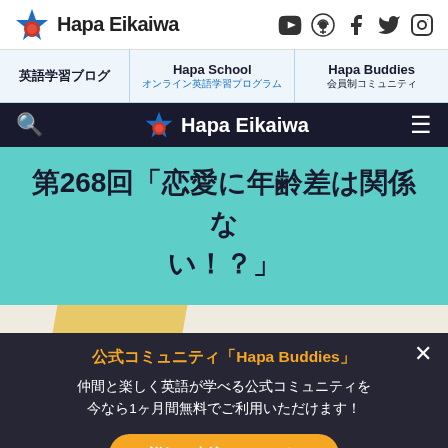Hapa Eikaiwa
英語学習ブログ　Hapa School オンライン英語学習プログラム　Hapa Buddies 会員制コミュニティ
Hapa Eikaiwa
第268回「恋愛に年齢差は関係ない！？」
公式コミュニティ「Hapa Buddies」
仲間と楽しく英語が学べる公式コミュニティを今なら1ヶ月間無料でご利用いただけます！
詳細＆申込みはこちら